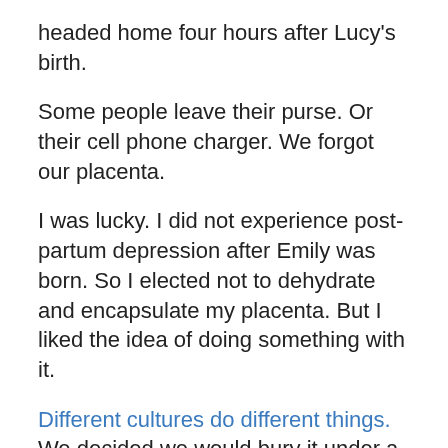headed home four hours after Lucy's birth.
Some people leave their purse. Or their cell phone charger. We forgot our placenta.
I was lucky. I did not experience post-partum depression after Emily was born. So I elected not to dehydrate and encapsulate my placenta. But I liked the idea of doing something with it.
Different cultures do different things. We decided we would bury it under a plant or shrub (I can't bring myself to say bush, although the comedic possibility is enticing.)
We decided to plant a gardenia. When we were picking out flowers for our wedding we considered gardenias. I imagine opening my front door next spring and smelling them for the first time of the season. Lucy will be walking